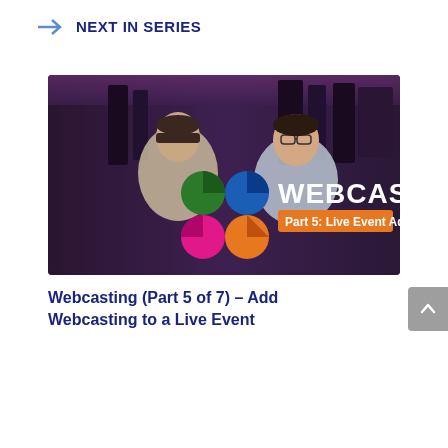NEXT IN SERIES
[Figure (photo): Video thumbnail showing two men in front of a dark studio background with the Webcasting logo (colorful pie-chart circles) and text 'WEBCASTING Part 5: Live Event Add-on' overlaid in white and orange.]
Webcasting (Part 5 of 7) – Add Webcasting to a Live Event